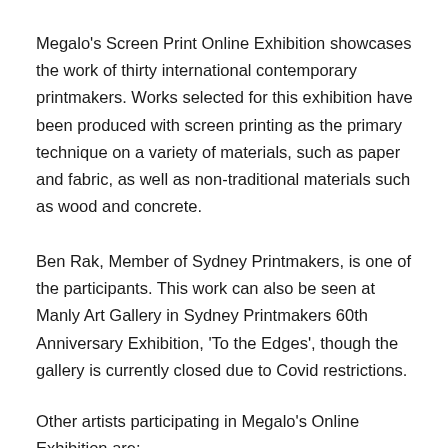Megalo's Screen Print Online Exhibition showcases the work of thirty international contemporary printmakers. Works selected for this exhibition have been produced with screen printing as the primary technique on a variety of materials, such as paper and fabric, as well as non-traditional materials such as wood and concrete.
Ben Rak, Member of Sydney Printmakers, is one of the participants. This work can also be seen at Manly Art Gallery in Sydney Printmakers 60th Anniversary Exhibition, 'To the Edges', though the gallery is currently closed due to Covid restrictions.
Other artists participating in Megalo's Online Exhibition are: